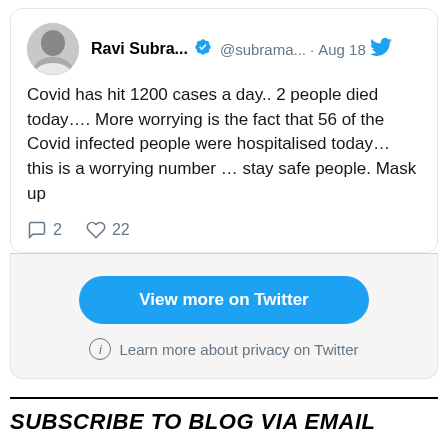[Figure (screenshot): Tweet by Ravi Subra... (@subrama...) dated Aug 18. Text: 'Covid has hit 1200 cases a day.. 2 people died today.... More worrying is the fact that 56 of the Covid infected people were hospitalised today... this is a worrying number … stay safe people. Mask up'. Actions: 2 replies, 22 likes. Below tweet card: 'View more on Twitter' button and 'Learn more about privacy on Twitter' link.]
SUBSCRIBE TO BLOG VIA EMAIL
Enter your email address to subscribe to this blog and receive notifications of new posts by email.
Enter your email address